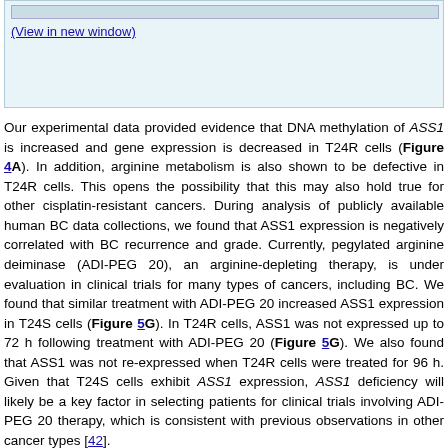[Figure (other): Partial figure box with light blue background showing a truncated image at the top and a 'View in new window' link]
Our experimental data provided evidence that DNA methylation of ASS1 is increased and gene expression is decreased in T24R cells (Figure 4A). In addition, arginine metabolism is also shown to be defective in T24R cells. This opens the possibility that this may also hold true for other cisplatin-resistant cancers. During analysis of publicly available human BC data collections, we found that ASS1 expression is negatively correlated with BC recurrence and grade. Currently, pegylated arginine deiminase (ADI-PEG 20), an arginine-depleting therapy, is under evaluation in clinical trials for many types of cancers, including BC. We found that similar treatment with ADI-PEG 20 increased ASS1 expression in T24S cells (Figure 5G). In T24R cells, ASS1 was not expressed up to 72 h following treatment with ADI-PEG 20 (Figure 5G). We also found that ASS1 was not re-expressed when T24R cells were treated for 96 h. Given that T24S cells exhibit ASS1 expression, ASS1 deficiency will likely be a key factor in selecting patients for clinical trials involving ADI-PEG 20 therapy, which is consistent with previous observations in other cancer types [42].
Next, we determined whether arginine depletion via ADI-PEG 20 could induce apoptosis in T24R cells that do not express ASS1. T24R cells were treated under various conditions: (1) cisplatin alone, or (2) combination of cisplatin and ADI-PEG 20 in a dose-dependent manner (1, 10, 100, and 750 ng/mL). Cell survival rates were measured using two independent assays, the MTS (Figure 5H) and crystal violet assay (Figure 5I). The following time-dependent experiments showed consistent results (Figures 5J (crystal violet assay) and Figure 5K (MTS assay)). In addition, J82R and RT4R cells were tested with ADI-PEG 20 treatment as well. The